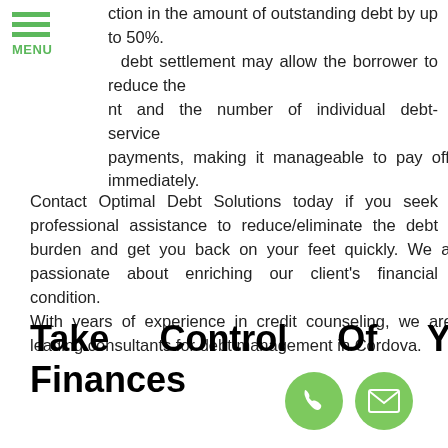[Figure (other): Green hamburger menu icon with three horizontal bars and MENU label in green]
ction in the amount of outstanding debt by up to 50%. debt settlement may allow the borrower to reduce the nt and the number of individual debt-service payments, making it manageable to pay off the debt immediately.
Contact Optimal Debt Solutions today if you seek professional assistance to reduce/eliminate the debt burden and get you back on your feet quickly. We are passionate about enriching our client's financial condition. With years of experience in credit counseling, we are the leading consultants for debt management in Cordova.
Take Control Of Your Finances
[Figure (illustration): Two circular green buttons at bottom right: a phone icon and an envelope/mail icon]